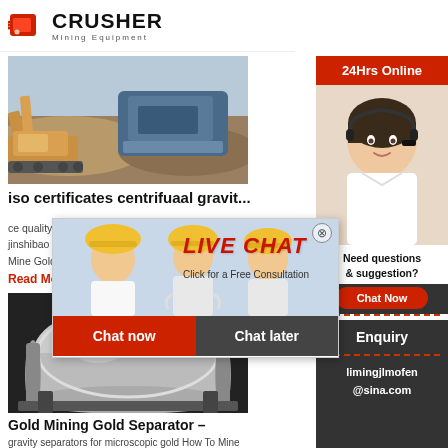CRUSHER Mining Equipment
[Figure (photo): Mining excavator and crushing equipment at a construction/mining site]
iso certificates centrifuaal gravit...
ce quality ce... jinshibao ... Mine Gold U...
Read More
[Figure (photo): Large industrial ball mill / gold separator machine in a factory setting]
Gold Mining Gold Separator –
gravity separators for microscopic gold How To Mine Gold...
[Figure (other): Live Chat popup overlay with workers in hard hats background, LIVE CHAT text, Chat now and Chat later buttons]
[Figure (other): Right sidebar: 24Hrs Online banner, customer service lady with headset, Need questions & suggestion? Chat Now button, Enquiry section, limingjlmofen@sina.com email]